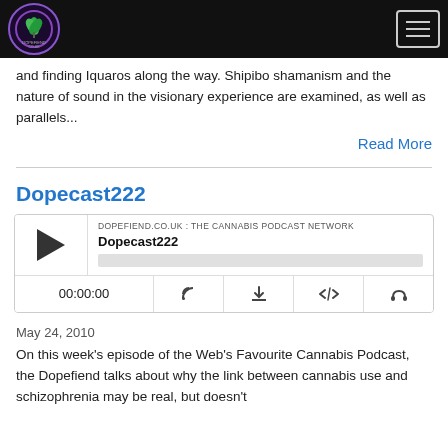Dopefiend.co.uk — navigation header with logo and hamburger menu
and finding Iquaros along the way. Shipibo shamanism and the nature of sound in the visionary experience are examined, as well as parallels...
Read More
Dopecast222
[Figure (other): Podcast audio player widget for Dopecast222 on DOPEFIEND.CO.UK : THE CANNABIS PODCAST NETWORK, showing play button, episode title, progress bar, time display 00:00:00, and control icons]
May 24, 2010
On this week's episode of the Web's Favourite Cannabis Podcast, the Dopefiend talks about why the link between cannabis use and schizophrenia may be real, but doesn't